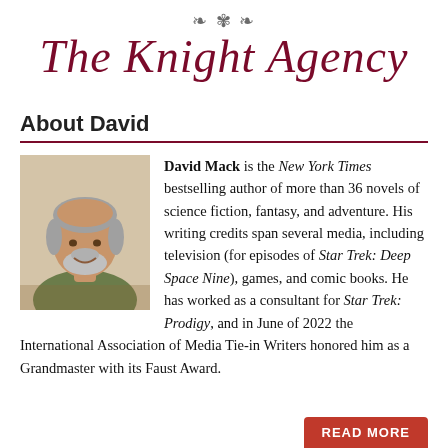[Figure (logo): The Knight Agency logo with ornamental flourish above cursive dark red text reading 'The Knight Agency']
About David
[Figure (photo): Headshot of David Mack, a middle-aged man with gray hair and beard, smiling slightly, wearing a green shirt, with bookshelves in the background]
David Mack is the New York Times bestselling author of more than 36 novels of science fiction, fantasy, and adventure. His writing credits span several media, including television (for episodes of Star Trek: Deep Space Nine), games, and comic books. He has worked as a consultant for Star Trek: Prodigy, and in June of 2022 the International Association of Media Tie-in Writers honored him as a Grandmaster with its Faust Award.